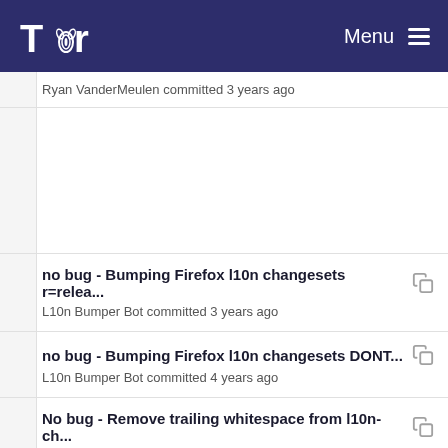Tor | Menu
Ryan VanderMeulen committed 3 years ago
no bug - Bumping Firefox l10n changesets r=relea...
L10n Bumper Bot committed 3 years ago
no bug - Bumping Firefox l10n changesets DONT...
L10n Bumper Bot committed 4 years ago
No bug - Remove trailing whitespace from l10n-ch...
Ryan VanderMeulen committed 3 years ago
no bug - Bumping Firefox l10n changesets r=relea...
Mozilla Releng Treescript committed 1 year ago
No bug - Remove trailing whitespace from l10n-ch...
Ryan VanderMeulen committed 3 years ago